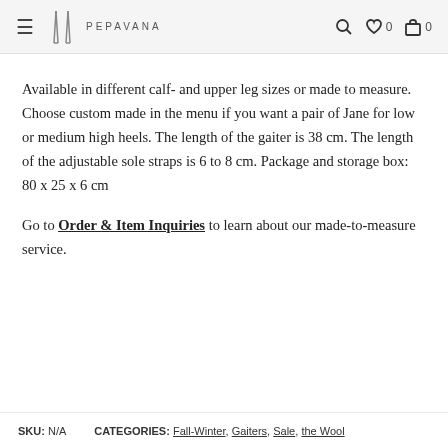≡ PEPAVANA  🔍 ♡ 0  🛍 0
Available in different calf- and upper leg sizes or made to measure. Choose custom made in the menu if you want a pair of Jane for low or medium high heels. The length of the gaiter is 38 cm. The length of the adjustable sole straps is 6 to 8 cm. Package and storage box: 80 x 25 x 6 cm
Go to Order & Item Inquiries to learn about our made-to-measure service.
SKU: N/A    CATEGORIES: Fall-Winter, Gaiters, Sale, the Wool